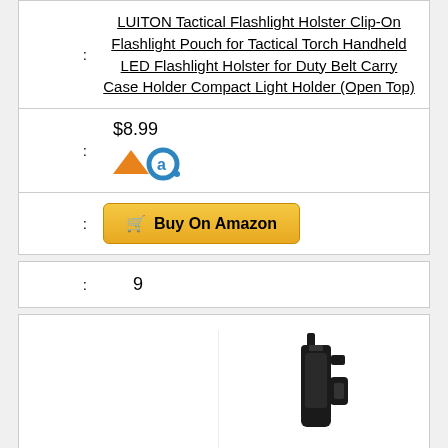: LUITON Tactical Flashlight Holster Clip-On Flashlight Pouch for Tactical Torch Handheld LED Flashlight Holster for Duty Belt Carry Case Holder Compact Light Holder (Open Top)
: $8.99
[Figure (logo): Amazon seller logo - orange and blue arrow/truck icon]
: Buy On Amazon
: 9
[Figure (photo): Black tactical flashlight holster clip-on pouch made of hard polymer material]